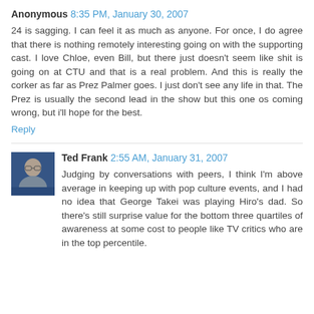Anonymous 8:35 PM, January 30, 2007
24 is sagging. I can feel it as much as anyone. For once, I do agree that there is nothing remotely interesting going on with the supporting cast. I love Chloe, even Bill, but there just doesn't seem like shit is going on at CTU and that is a real problem. And this is really the corker as far as Prez Palmer goes. I just don't see any life in that. The Prez is usually the second lead in the show but this one os coming wrong, but i'll hope for the best.
Reply
Ted Frank 2:55 AM, January 31, 2007
Judging by conversations with peers, I think I'm above average in keeping up with pop culture events, and I had no idea that George Takei was playing Hiro's dad. So there's still surprise value for the bottom three quartiles of awareness at some cost to people like TV critics who are in the top percentile.